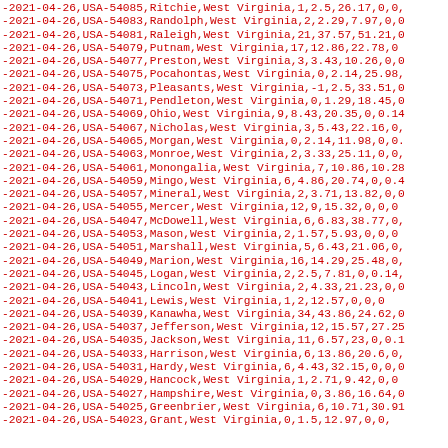-2021-04-26,USA-54085,Ritchie,West Virginia,1,2.5,26.17,0,0
-2021-04-26,USA-54083,Randolph,West Virginia,2,2.29,7.97,0,0
-2021-04-26,USA-54081,Raleigh,West Virginia,21,37.57,51.21,0
-2021-04-26,USA-54079,Putnam,West Virginia,17,12.86,22.78,0
-2021-04-26,USA-54077,Preston,West Virginia,3,3.43,10.26,0,0
-2021-04-26,USA-54075,Pocahontas,West Virginia,0,2.14,25.98,
-2021-04-26,USA-54073,Pleasants,West Virginia,-1,2.5,33.51,0
-2021-04-26,USA-54071,Pendleton,West Virginia,0,1.29,18.45,0
-2021-04-26,USA-54069,Ohio,West Virginia,9,8.43,20.35,0,0.14
-2021-04-26,USA-54067,Nicholas,West Virginia,3,5.43,22.16,0,
-2021-04-26,USA-54065,Morgan,West Virginia,0,2.14,11.98,0,0.
-2021-04-26,USA-54063,Monroe,West Virginia,2,3.33,25.11,0,0,
-2021-04-26,USA-54061,Monongalia,West Virginia,7,10.86,10.28
-2021-04-26,USA-54059,Mingo,West Virginia,6,4.86,20.74,0,0.4
-2021-04-26,USA-54057,Mineral,West Virginia,2,3.71,13.82,0,0
-2021-04-26,USA-54055,Mercer,West Virginia,12,9,15.32,0,0,0
-2021-04-26,USA-54047,McDowell,West Virginia,6,6.83,38.77,0,
-2021-04-26,USA-54053,Mason,West Virginia,2,1.57,5.93,0,0,0
-2021-04-26,USA-54051,Marshall,West Virginia,5,6.43,21.06,0,
-2021-04-26,USA-54049,Marion,West Virginia,16,14.29,25.48,0,
-2021-04-26,USA-54045,Logan,West Virginia,2,2.5,7.81,0,0.14,
-2021-04-26,USA-54043,Lincoln,West Virginia,2,4.33,21.23,0,0
-2021-04-26,USA-54041,Lewis,West Virginia,1,2,12.57,0,0,0
-2021-04-26,USA-54039,Kanawha,West Virginia,34,43.86,24.62,0
-2021-04-26,USA-54037,Jefferson,West Virginia,12,15.57,27.25
-2021-04-26,USA-54035,Jackson,West Virginia,11,6.57,23,0,0.1
-2021-04-26,USA-54033,Harrison,West Virginia,6,13.86,20.6,0,
-2021-04-26,USA-54031,Hardy,West Virginia,6,4.43,32.15,0,0,0
-2021-04-26,USA-54029,Hancock,West Virginia,1,2.71,9.42,0,0
-2021-04-26,USA-54027,Hampshire,West Virginia,0,3.86,16.64,0
-2021-04-26,USA-54025,Greenbrier,West Virginia,6,10.71,30.91
-2021-04-26,USA-54023,Grant,West Virginia,0,1.5,12.97,0,0,